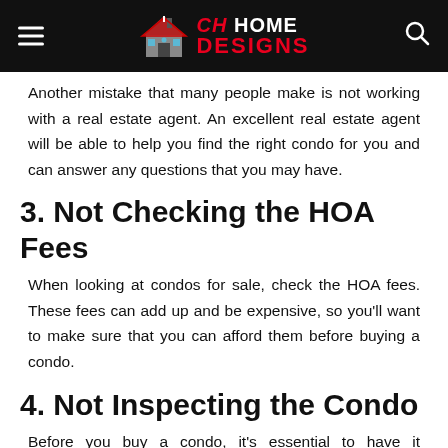CH HOME DESIGNS
Another mistake that many people make is not working with a real estate agent. An excellent real estate agent will be able to help you find the right condo for you and can answer any questions that you may have.
3. Not Checking the HOA Fees
When looking at condos for sale, check the HOA fees. These fees can add up and be expensive, so you'll want to make sure that you can afford them before buying a condo.
4. Not Inspecting the Condo
Before you buy a condo, it's essential to have it inspected. This will help to ensure that there are no hidden problems